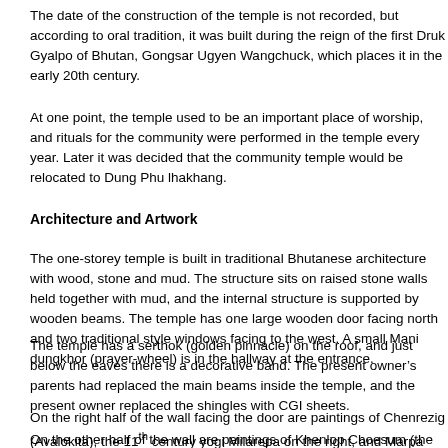The date of the construction of the temple is not recorded, but according to oral tradition, it was built during the reign of the first Druk Gyalpo of Bhutan, Gongsar Ugyen Wangchuck, which places it in the early 20th century.
At one point, the temple used to be an important place of worship, and rituals for the community were performed in the temple every year. Later it was decided that the community temple would be relocated to Dung Phu lhakhang.
Architecture and Artwork
The one-storey temple is built in traditional Bhutanese architecture with wood, stone and mud. The structure sits on raised stone walls held together with mud, and the internal structure is supported by wooden beams. The temple has one large wooden door facing north and two traditional style windows facing to the west. A small Mani dungkhor (prayer-wheel) is in the hallway at the entrance.
The temple has a serthok (golden pinnacle) on the roof, and just below the eaves there is a decorative band. The present owner's parents had replaced the main beams inside the temple, and the present owner replaced the shingles with CGI sheets.
On the right half of the wall facing the door are paintings of Chenrezig (Avalokitesvara), the 11th century yogi Milarepa on the right, and Marpa (Milarepa's master) on the left. On the left half are paintings of Zhabdrung Ngawang Namgyal, Tshepamey (Amitayus, Bodhisattva of longevity) and Nangsi Zilnon (Amitabha, the Buddha of infinite light).
On the other half of the wall are paintings of Khenlop Choesum (the Bodhisatva